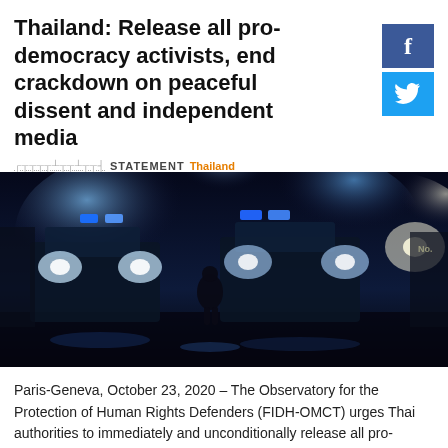Thailand: Release all pro-democracy activists, end crackdown on peaceful dissent and independent media
FIDH-OMCT | STATEMENT | Thailand | Human Rights Defenders
[Figure (photo): Night scene of a lone person standing in front of police water cannon trucks with blue flashing lights on a wet street during a protest in Thailand.]
Paris-Geneva, October 23, 2020 – The Observatory for the Protection of Human Rights Defenders (FIDH-OMCT) urges Thai authorities to immediately and unconditionally release all pro-democracy activists who remain detained in connection with their participation in peaceful pro-